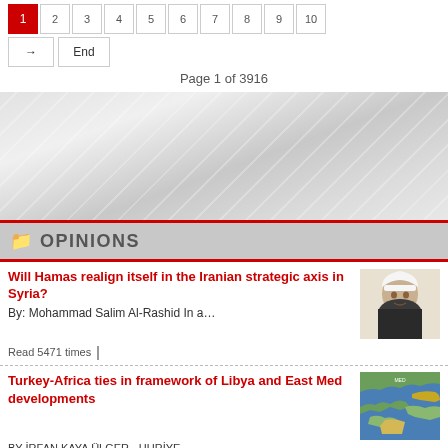Page 1 of 3916
[Figure (screenshot): Gray diagonal striped advertisement banner area]
OPINIONS
Will Hamas realign itself in the Iranian strategic axis in Syria?
By: Mohammad Salim Al-Rashid In a…
Read 5471 times
Turkey-Africa ties in framework of Libya and East Med developments
BY İRFAN KAYA ÜLGER - HURİYE